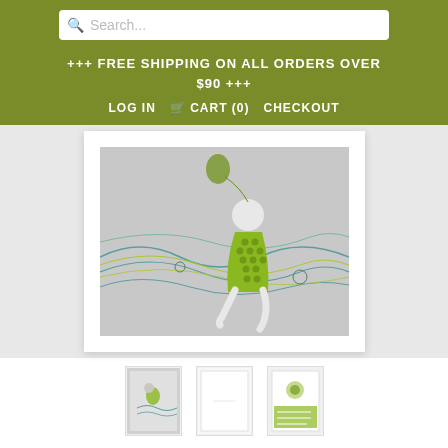Search...
+++ FREE SHIPPING ON ALL ORDERS OVER $90 +++
LOG IN   CART (0)   CHECKOUT
[Figure (illustration): A greeting card featuring a woman in a green patterned dress walking/running with flowing wavy lines in teal and yellow-green on a grey background. White border framing.]
[Figure (photo): Three product thumbnail images of the birthday card: front of card showing figure, inside of card blank white, and card details/info label]
Positively Green Birthday Card: